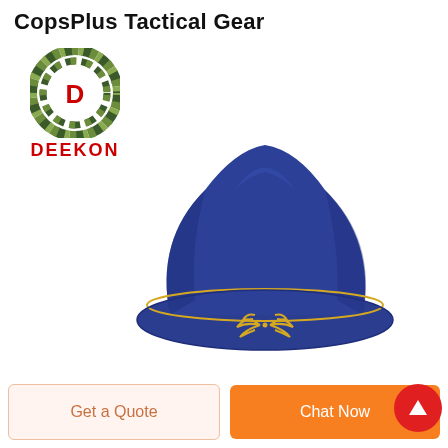CopsPlus Tactical Gear
[Figure (logo): DEEKON brand logo: concentric camouflage-patterned circles with a red letter D in the center, and the word DEEKON in bold red text below]
[Figure (photo): A blue military/airline style pill-box hat with a gold trim line around the brim and a gold embroidered laurel leaf badge on the front, on a white background]
Get a Quote
Chat Now